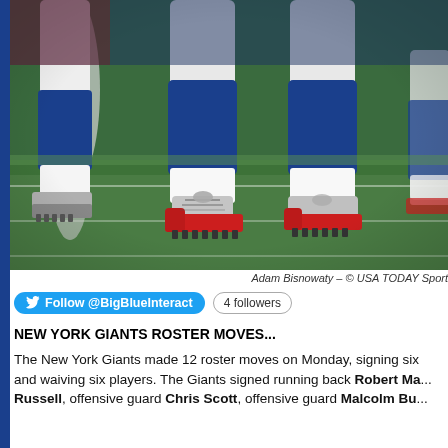[Figure (photo): Close-up photo of NFL football players' legs on a green turf field. Players wearing white pants, blue socks, and grey/red cleats.]
Adam Bisnowaty – © USA TODAY Sport
Follow @BigBlueInteract   4 followers
NEW YORK GIANTS ROSTER MOVES...
The New York Giants made 12 roster moves on Monday, signing six and waiving six players. The Giants signed running back Robert Ma... Russell, offensive guard Chris Scott, offensive guard Malcolm Bu...